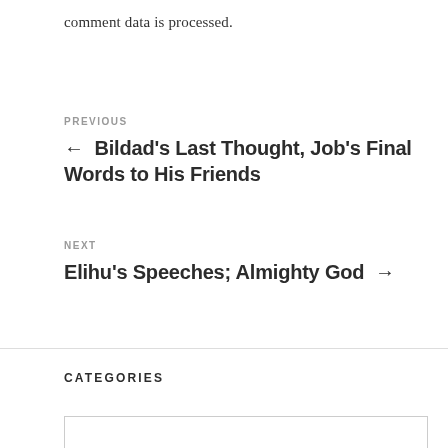comment data is processed.
PREVIOUS
← Bildad's Last Thought, Job's Final Words to His Friends
NEXT
Elihu's Speeches; Almighty God →
CATEGORIES